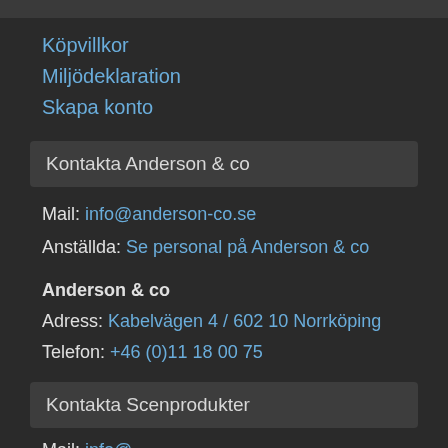Köpvillkor
Miljödeklaration
Skapa konto
Kontakta Anderson & co
Mail: info@anderson-co.se
Anställda: Se personal på Anderson & co
Anderson & co
Adress: Kabelvägen 4 / 602 10 Norrköping
Telefon: +46 (0)11 18 00 75
Kontakta Scenprodukter
Mail: info@scenprodukter...